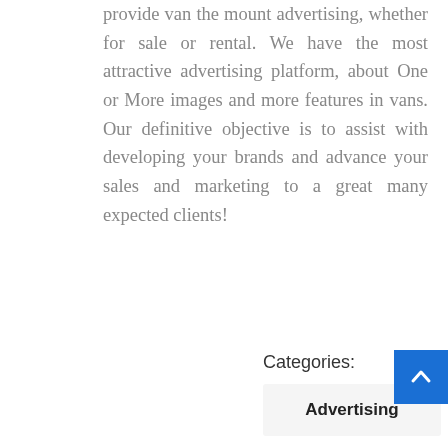provide van the mount advertising, whether for sale or rental. We have the most attractive advertising platform, about One or More images and more features in vans. Our definitive objective is to assist with developing your brands and advance your sales and marketing to a great many expected clients!
Categories:
Advertising